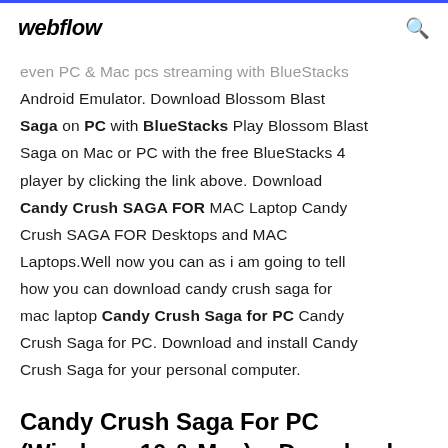webflow
even PC & Mac pcs streaming with BlueStacks Android Emulator. Download Blossom Blast Saga on PC with BlueStacks Play Blossom Blast Saga on Mac or PC with the free BlueStacks 4 player by clicking the link above. Download Candy Crush SAGA FOR MAC Laptop Candy Crush SAGA FOR Desktops and MAC Laptops.Well now you can as i am going to tell how you can download candy crush saga for mac laptop Candy Crush Saga for PC Candy Crush Saga for PC. Download and install Candy Crush Saga for your personal computer.
Candy Crush Saga For PC (Windows 10 & Mac) – Download